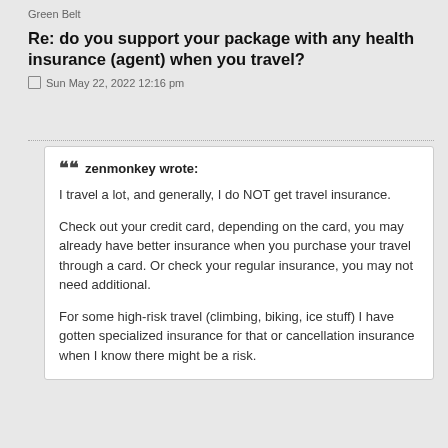Green Belt
Re: do you support your package with any health insurance (agent) when you travel?
Sun May 22, 2022 12:16 pm
zenmonkey wrote:
I travel a lot, and generally, I do NOT get travel insurance.

Check out your credit card, depending on the card, you may already have better insurance when you purchase your travel through a card. Or check your regular insurance, you may not need additional.

For some high-risk travel (climbing, biking, ice stuff) I have gotten specialized insurance for that or cancellation insurance when I know there might be a risk.